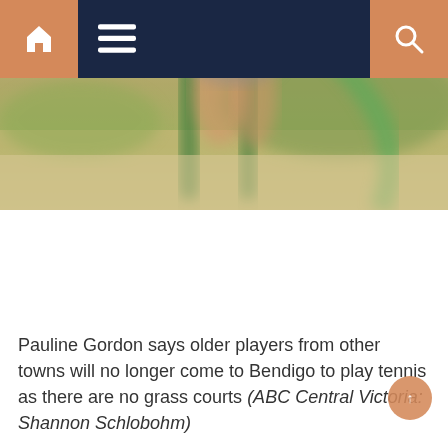Navigation bar with home, menu, and search icons
[Figure (photo): Blurred outdoor photo showing a green slide or railing structure, person's legs visible, green grass and sandy ground in background]
Pauline Gordon says older players from other towns will no longer come to Bendigo to play tennis as there are no grass courts (ABC Central Victoria: Shannon Schlobohm)